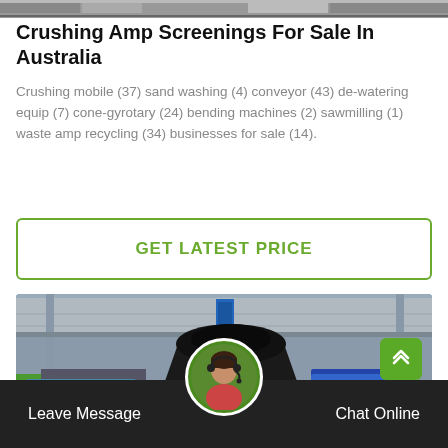[Figure (photo): Top strip showing industrial machinery or background image]
Crushing Amp Screenings For Sale In Australia
Crushing mobile (37) sand washing (4) conveyor (43) de-watering equip (7) cone-gyrotary (24) bending machines (2) sawmilling (1) waste amp recycling (34) businesses for sale (14).
[Figure (other): GET LATEST PRICE call-to-action button with green border]
[Figure (photo): Industrial crushing machine (cone crusher) inside a factory warehouse with blue scaffolding and red accent]
[Figure (photo): Customer service avatar photo in circular frame at bottom center]
Leave Message   Chat Online